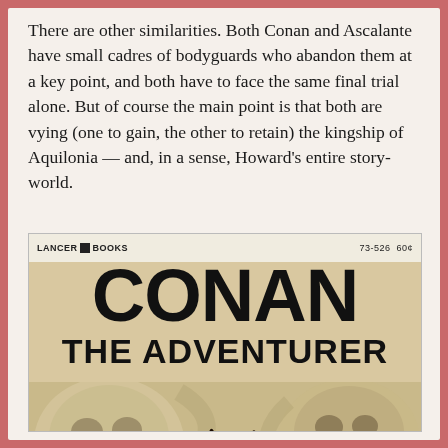There are other similarities. Both Conan and Ascalante have small cadres of bodyguards who abandon them at a key point, and both have to face the same final trial alone. But of course the main point is that both are vying (one to gain, the other to retain) the kingship of Aquilonia — and, in a sense, Howard's entire story-world.
[Figure (photo): Book cover of 'Conan the Adventurer' published by Lancer Books (73-526, 60¢). The cover features large bold black text reading 'CONAN' at the top and 'THE ADVENTURER' below it, against a tan/beige background. The lower portion shows a figure (presumably Conan) with long dark hair, surrounded by large skull imagery in muted tan and brown tones.]